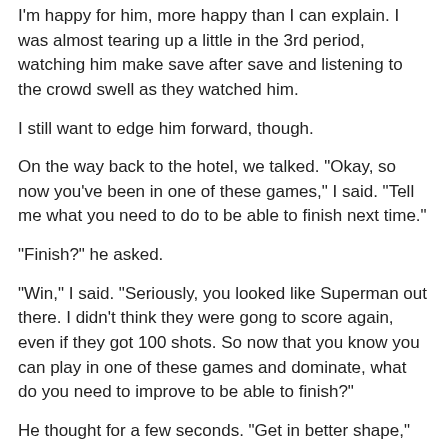I'm happy for him, more happy than I can explain. I was almost tearing up a little in the 3rd period, watching him make save after save and listening to the crowd swell as they watched him.
I still want to edge him forward, though.
On the way back to the hotel, we talked. "Okay, so now you've been in one of these games," I said. "Tell me what you need to do to be able to finish next time."
"Finish?" he asked.
"Win," I said. "Seriously, you looked like Superman out there. I didn't think they were gong to score again, even if they got 100 shots. So now that you know you can play in one of these games and dominate, what do you need to improve to be able to finish?"
He thought for a few seconds. "Get in better shape," he said.
That wasn't the answer I expected.